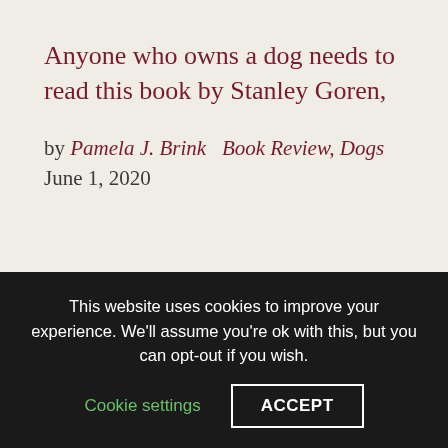Anyone who owns a dog needs to read this book by Stanley Goren,
by Pamela J. Brink   Book Review, Dogs   June 1, 2020
[Figure (screenshot): Search box with placeholder text 'enter keywords' and a magnifying glass icon]
This website uses cookies to improve your experience. We'll assume you're ok with this, but you can opt-out if you wish.
Cookie settings   ACCEPT